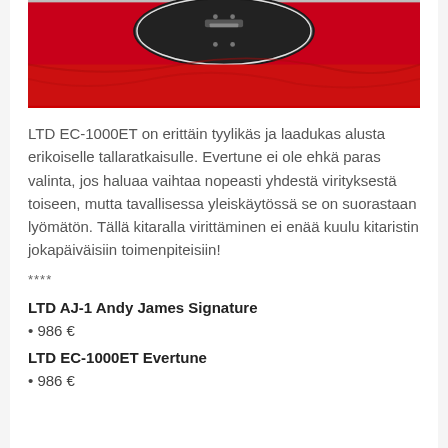[Figure (photo): Top portion of a guitar body against a red fabric background, showing the guitar's tail/bridge area in dark color]
LTD EC-1000ET on erittäin tyylikäs ja laadukas alusta erikoiselle tallaratkaisulle. Evertune ei ole ehkä paras valinta, jos haluaa vaihtaa nopeasti yhdestä virityksestä toiseen, mutta tavallisessa yleiskäytössä se on suorastaan lyömätön. Tällä kitaralla virittäminen ei enää kuulu kitaristin jokapäiväisiin toimenpiteisiin!
****
LTD AJ-1 Andy James Signature
• 986 €
LTD EC-1000ET Evertune
• 986 €